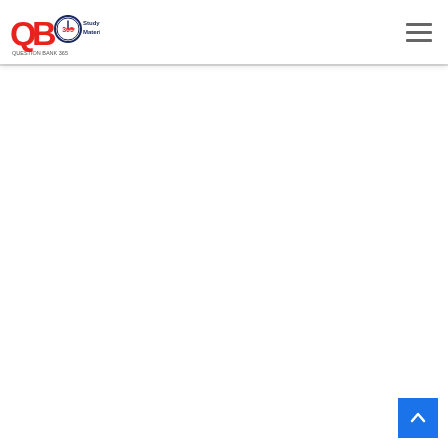QB365 Study Material
[Figure (logo): QB365 Study Material logo with red QB text, blue 365 clock icon, and Study Material text]
[Figure (other): Blue back-to-top button with upward chevron arrow in bottom-right corner]